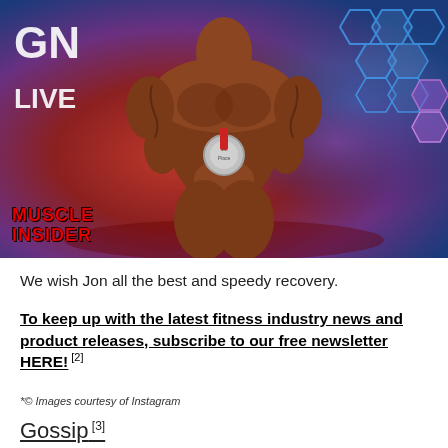[Figure (photo): A muscular male bodybuilder posing on stage, wearing a competition medal, with colorful stage lighting behind him. Muscle Insider watermark in bottom left. Background shows partial text 'GN LIVE' on left and hexagonal patterns on right.]
We wish Jon all the best and speedy recovery.
To keep up with the latest fitness industry news and product releases, subscribe to our free newsletter HERE! [2]
*© Images courtesy of Instagram
Gossip [3]